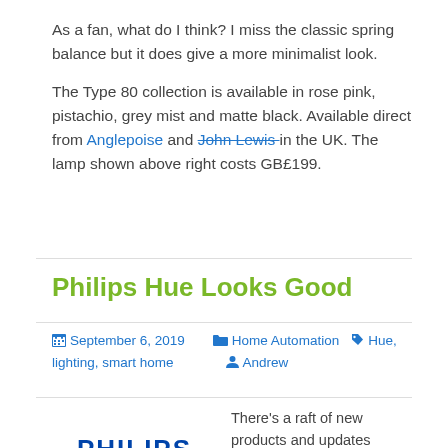As a fan, what do I think? I miss the classic spring balance but it does give a more minimalist look.

The Type 80 collection is available in rose pink, pistachio, grey mist and matte black. Available direct from Anglepoise and John Lewis in the UK. The lamp shown above right costs GB£199.
Philips Hue Looks Good
September 6, 2019 · Home Automation · Hue, lighting, smart home · Andrew
There's a raft of new products and updates coming to Philips Hue with a big announcement from Signify